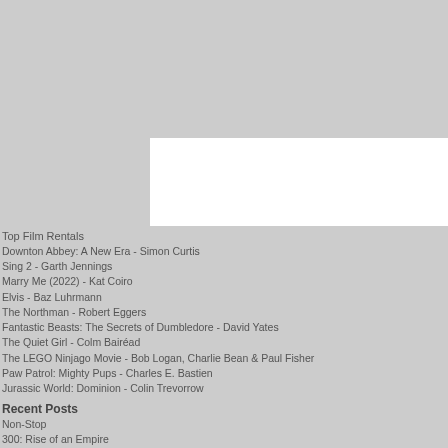[Figure (other): Gray background area with white rectangle overlay at bottom right portion]
Top Film Rentals
Downton Abbey: A New Era - Simon Curtis
Sing 2 - Garth Jennings
Marry Me (2022) - Kat Coiro
Elvis - Baz Luhrmann
The Northman - Robert Eggers
Fantastic Beasts: The Secrets of Dumbledore - David Yates
The Quiet Girl - Colm Bairéad
The LEGO Ninjago Movie - Bob Logan, Charlie Bean & Paul Fisher
Paw Patrol: Mighty Pups - Charles E. Bastien
Jurassic World: Dominion - Colin Trevorrow
Recent Posts
Non-Stop
300: Rise of an Empire